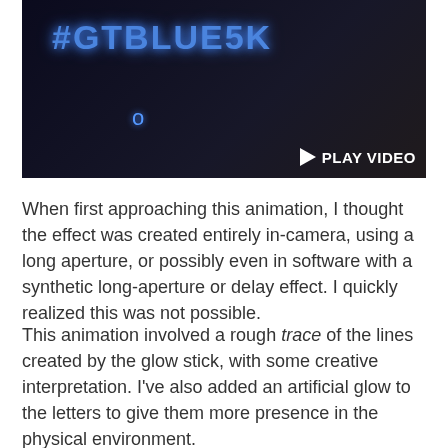[Figure (screenshot): Dark video thumbnail showing blue glowing text '#GTBLUESK' written with a glow stick in a dark room. A 'PLAY VIDEO' button overlay appears in the bottom right corner.]
When first approaching this animation, I thought the effect was created entirely in-camera, using a long aperture, or possibly even in software with a synthetic long-aperture or delay effect. I quickly realized this was not possible.
This animation involved a rough trace of the lines created by the glow stick, with some creative interpretation. I've also added an artificial glow to the letters to give them more presence in the physical environment.